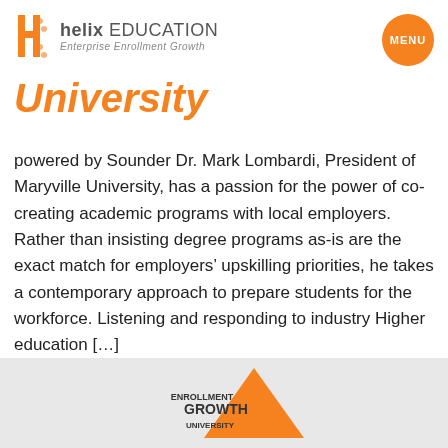helix EDUCATION Enterprise Enrollment Growth
University
powered by Sounder Dr. Mark Lombardi, President of Maryville University, has a passion for the power of co-creating academic programs with local employers. Rather than insisting degree programs as-is are the exact match for employers' upskilling priorities, he takes a contemporary approach to prepare students for the workforce. Listening and responding to industry Higher education […]
[Figure (logo): Enrollment Growth University logo in footer area with orange triangle shape]